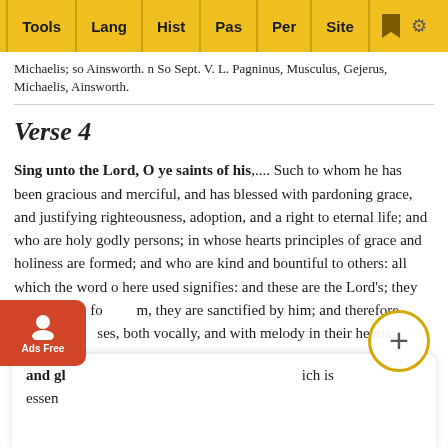Tools | Lang | Hist | Pas | Per | Site
Michaelis; so Ainsworth. n So Sept. V. L. Pagninus, Musculus, Gejerus, Michaelis, Ainsworth.
Verse 4
Sing unto the Lord, O ye saints of his,.... Such to whom he has been gracious and merciful, and has blessed with pardoning grace, and justifying righteousness, adoption, and a right to eternal life; and who are holy godly persons; in whose hearts principles of grace and holiness are formed; and who are kind and bountiful to others: all which the word o here used signifies: and these are the Lord's; they are set apart for him, they are sanctified by him; and therefore should sing his praises, both vocally, and with melody in their hearts;
and give thanks... which is essential...